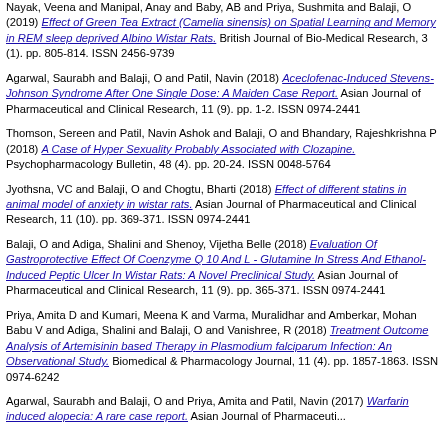Nayak, Veena and Manipal, Anay and Baby, AB and Priya, Sushmita and Balaji, O (2019) Effect of Green Tea Extract (Camelia sinensis) on Spatial Learning and Memory in REM sleep deprived Albino Wistar Rats. British Journal of Bio-Medical Research, 3 (1). pp. 805-814. ISSN 2456-9739
Agarwal, Saurabh and Balaji, O and Patil, Navin (2018) Aceclofenac-Induced Stevens-Johnson Syndrome After One Single Dose: A Maiden Case Report. Asian Journal of Pharmaceutical and Clinical Research, 11 (9). pp. 1-2. ISSN 0974-2441
Thomson, Sereen and Patil, Navin Ashok and Balaji, O and Bhandary, Rajeshkrishna P (2018) A Case of Hyper Sexuality Probably Associated with Clozapine. Psychopharmacology Bulletin, 48 (4). pp. 20-24. ISSN 0048-5764
Jyothsna, VC and Balaji, O and Chogtu, Bharti (2018) Effect of different statins in animal model of anxiety in wistar rats. Asian Journal of Pharmaceutical and Clinical Research, 11 (10). pp. 369-371. ISSN 0974-2441
Balaji, O and Adiga, Shalini and Shenoy, Vijetha Belle (2018) Evaluation Of Gastroprotective Effect Of Coenzyme Q 10 And L - Glutamine In Stress And Ethanol-Induced Peptic Ulcer In Wistar Rats: A Novel Preclinical Study. Asian Journal of Pharmaceutical and Clinical Research, 11 (9). pp. 365-371. ISSN 0974-2441
Priya, Amita D and Kumari, Meena K and Varma, Muralidhar and Amberkar, Mohan Babu V and Adiga, Shalini and Balaji, O and Vanishree, R (2018) Treatment Outcome Analysis of Artemisinin based Therapy in Plasmodium falciparum Infection: An Observational Study. Biomedical & Pharmacology Journal, 11 (4). pp. 1857-1863. ISSN 0974-6242
Agarwal, Saurabh and Balaji, O and Priya, Amita and Patil, Navin (2017) Warfarin induced alopecia: A rare case report. Asian Journal of Pharmaceuti...